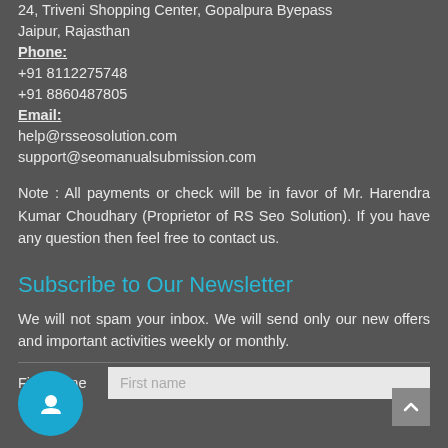24, Triveni Shopping Center, Gopalpura Byepass
Jaipur, Rajasthan
Phone:
+91 8112275748
+91 8860487805
Email:
help@rsseosolution.com
support@seomanualsubmission.com
Note : All payments or check will be in favor of Mr. Harendra Kumar Choudhary (Proprietor of RS Seo Solution). If you have any question then feel free to contact us.
Subscribe to Our Newsletter
We will not spam your inbox. We will send only our new offers and important activities weekly or monthly.
First name  [input field]